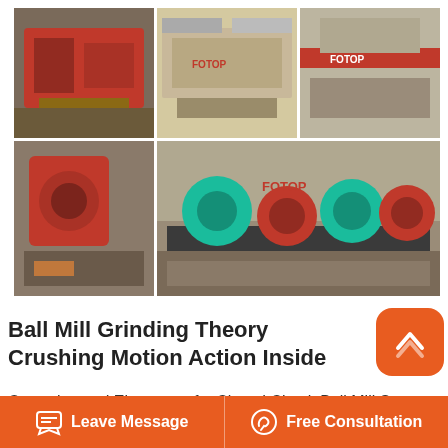[Figure (photo): Collage of 5 photos showing industrial mining/crushing equipment including jaw crushers, ball mills, and conveyor systems in a factory setting. Red and teal machinery visible. FOTOP branding shown.]
Ball Mill Grinding Theory Crushing Motion Action Inside
Operation and Elements of a Closed Circuit Ball Mill System. Cement ball mills typically have two grinding chambers. The first chamber is filled with larger diameter grinding media and lined with lifting liners. The first
Leave Message   Free Consultation